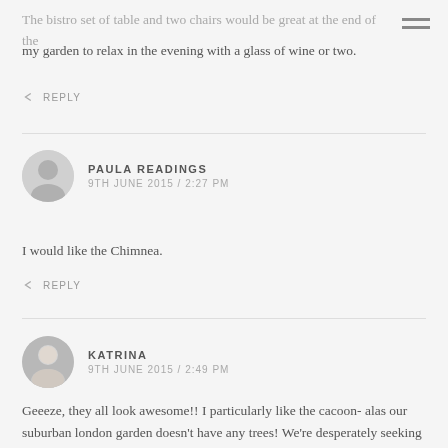The bistro set of table and two chairs would be great at the end of my garden to relax in the evening with a glass of wine or two.
↩ REPLY
PAULA READINGS
9TH JUNE 2015 / 2:27 PM
I would like the Chimnea.
↩ REPLY
KATRINA
9TH JUNE 2015 / 2:49 PM
Geeeze, they all look awesome!! I particularly like the cacoon- alas our suburban london garden doesn't have any trees! We're desperately seeking garden furniture so the bistro table & chairs would be amazing!!